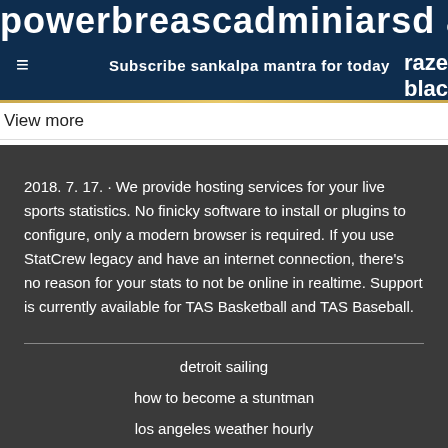powerbreascadminiarsd abolim
☰  Subscribe sankalpa mantra for today  raze blac
View more
2018. 7. 17. · We provide hosting services for your live sports statistics. No finicky software to install or plugins to configure, only a modern browser is required. If you use StatCrew legacy and have an internet connection, there's no reason for your stats to not be online in realtime. Support is currently available for TAS Basketball and TAS Baseball.
detroit sailing
how to become a stuntman
los angeles weather hourly